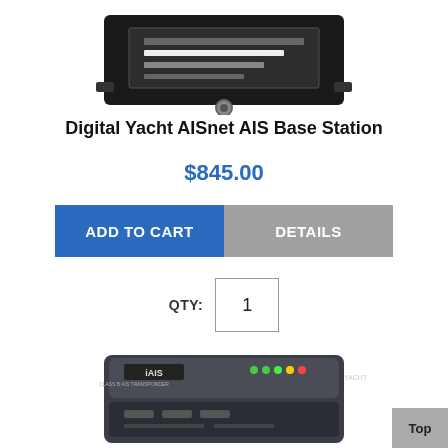[Figure (photo): Top portion of a Digital Yacht AISnet AIS Base Station device (black rectangular box with screen and connector)]
Digital Yacht AISnet AIS Base Station
$845.00
ADD TO CART   DETAILS
QTY: 1
[Figure (photo): Digital Yacht iAIS class B AIS transponder device (dark grey box with LED indicators)]